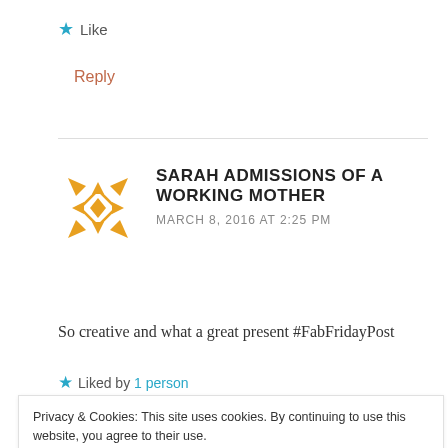★ Like
Reply
SARAH ADMISSIONS OF A WORKING MOTHER
MARCH 8, 2016 AT 2:25 PM
So creative and what a great present #FabFridayPost
★ Liked by 1 person
Privacy & Cookies: This site uses cookies. By continuing to use this website, you agree to their use.
To find out more, including how to control cookies, see here: Cookie Policy
Close and accept